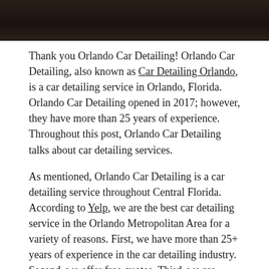[Figure (photo): Dark/black background image strip at the top of the page, appears to be a dark textured surface.]
Thank you Orlando Car Detailing! Orlando Car Detailing, also known as Car Detailing Orlando, is a car detailing service in Orlando, Florida. Orlando Car Detailing opened in 2017; however, they have more than 25 years of experience. Throughout this post, Orlando Car Detailing talks about car detailing services.
As mentioned, Orlando Car Detailing is a car detailing service throughout Central Florida. According to Yelp, we are the best car detailing service in the Orlando Metropolitan Area for a variety of reasons. First, we have more than 25+ years of experience in the car detailing industry. Second, we offer free quotes. Third, we are professional. Orlando Car Detailing employs courteous employees with a passion for car detailing.